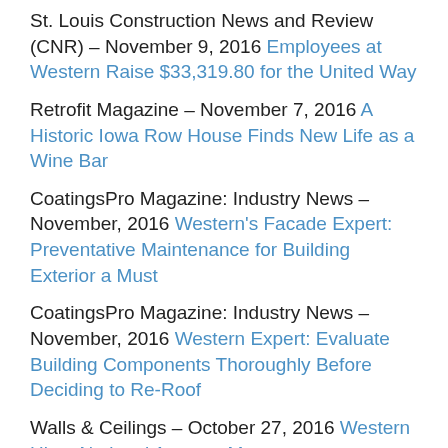St. Louis Construction News and Review (CNR) – November 9, 2016 Employees at Western Raise $33,319.80 for the United Way
Retrofit Magazine – November 7, 2016 A Historic Iowa Row House Finds New Life as a Wine Bar
CoatingsPro Magazine: Industry News – November, 2016 Western's Facade Expert: Preventative Maintenance for Building Exterior a Must
CoatingsPro Magazine: Industry News – November, 2016 Western Expert: Evaluate Building Components Thoroughly Before Deciding to Re-Roof
Walls & Ceilings – October 27, 2016 Western Hires National Account Manager
Masonry Magazine – October 26, 2016 Specifying the